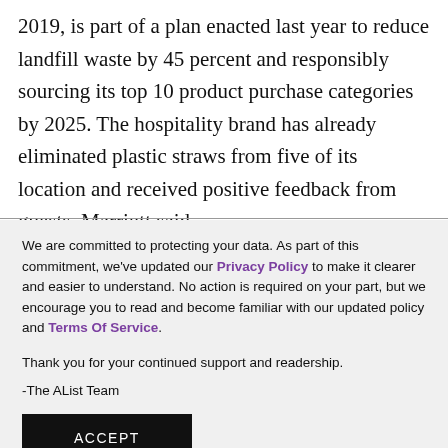2019, is part of a plan enacted last year to reduce landfill waste by 45 percent and responsibly sourcing its top 10 product purchase categories by 2025. The hospitality brand has already eliminated plastic straws from five of its location and received positive feedback from guests, Marriott said.
We are committed to protecting your data. As part of this commitment, we've updated our Privacy Policy to make it clearer and easier to understand. No action is required on your part, but we encourage you to read and become familiar with our updated policy and Terms Of Service.

Thank you for your continued support and readership.

-The AList Team